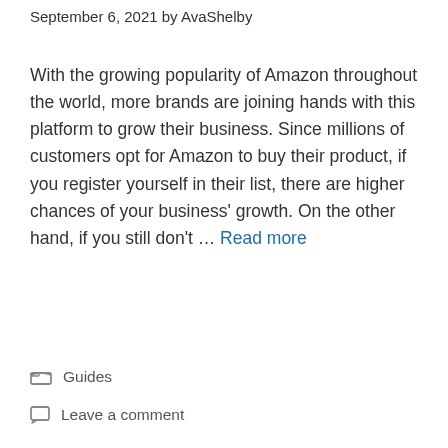September 6, 2021 by AvaShelby
With the growing popularity of Amazon throughout the world, more brands are joining hands with this platform to grow their business. Since millions of customers opt for Amazon to buy their product, if you register yourself in their list, there are higher chances of your business' growth. On the other hand, if you still don't … Read more
Guides
Leave a comment